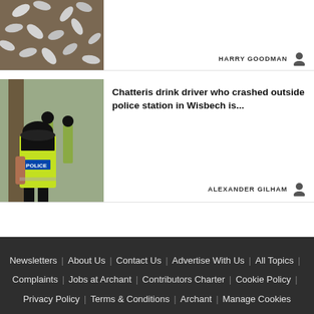[Figure (photo): Partial top view of pills or seeds scattered on a wooden surface]
HARRY GOODMAN
[Figure (photo): Police officers from behind walking, one wearing a high-visibility vest with POLICE label]
Chatteris drink driver who crashed outside police station in Wisbech is...
ALEXANDER GILHAM
Newsletters | About Us | Contact Us | Advertise With Us | All Topics | Complaints | Jobs at Archant | Contributors Charter | Cookie Policy | Privacy Policy | Terms & Conditions | Archant | Manage Cookies